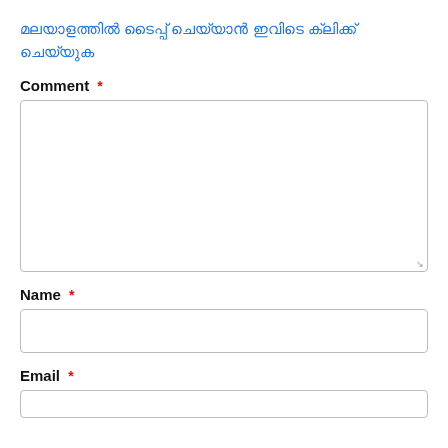മലയാളത്തിൽ ടൈപ്പ് ചെയ്യാൻ ഇവിടെ ക്ലിക്ക് ചെയ്യുക
Comment *
[Figure (other): Large comment text area input box, empty, with resize handle at bottom right]
Name *
[Figure (other): Single line Name input box, empty]
Email *
[Figure (other): Single line Email input box, partially visible, empty]